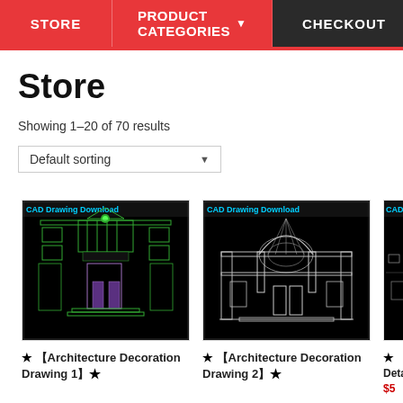STORE | PRODUCT CATEGORIES | CHECKOUT
Store
Showing 1–20 of 70 results
Default sorting
[Figure (screenshot): CAD Drawing Download - Architecture Decoration Drawing 1 - black background with green wireframe building facade]
★ 【Architecture Decoration Drawing 1】★
[Figure (screenshot): CAD Drawing Download - Architecture Decoration Drawing 2 - black background with white wireframe building facade with arched entrance]
★ 【Architecture Decoration Drawing 2】★
[Figure (screenshot): CAD Drawing Download - partial view, black background]
★ 【 Deta $5